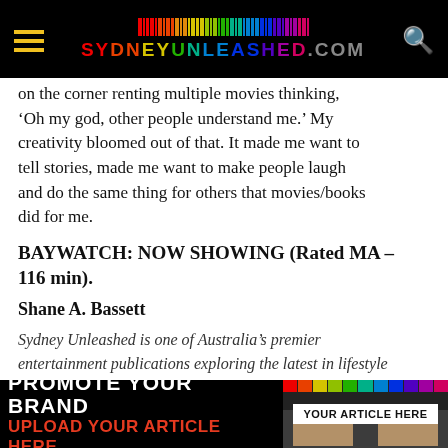SYDNEYUNLEASHED.COM
on the corner renting multiple movies thinking, ‘Oh my god, other people understand me.’ My creativity bloomed out of that. It made me want to tell stories, made me want to make people laugh and do the same thing for others that movies/books did for me.
BAYWATCH: NOW SHOWING (Rated MA – 116 min).
Shane A. Bassett
Sydney Unleashed is one of Australia’s premier entertainment publications exploring the latest in lifestyle
PROMOTE YOUR BRAND
UPLOAD YOUR ARTICLE HERE
YOUR ARTICLE HERE